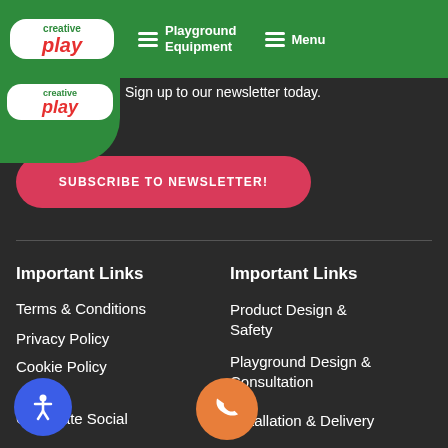creative play — Playground Equipment | Menu
Sign up to our newsletter today.
SUBSCRIBE TO NEWSLETTER!
Important Links
Terms & Conditions
Privacy Policy
Cookie Policy
Corporate Social
Important Links
Product Design & Safety
Playground Design & Consultation
Installation & Delivery